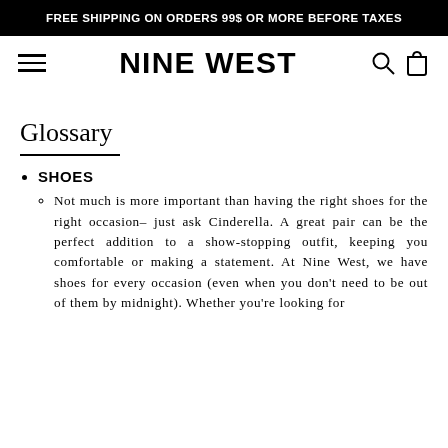FREE SHIPPING ON ORDERS 99$ OR MORE BEFORE TAXES
[Figure (logo): Nine West navigation bar with hamburger menu, NINE WEST brand name, search icon, and shopping bag icon]
Glossary
SHOES
Not much is more important than having the right shoes for the right occasion– just ask Cinderella. A great pair can be the perfect addition to a show-stopping outfit, keeping you comfortable or making a statement. At Nine West, we have shoes for every occasion (even when you don't need to be out of them by midnight). Whether you're looking for